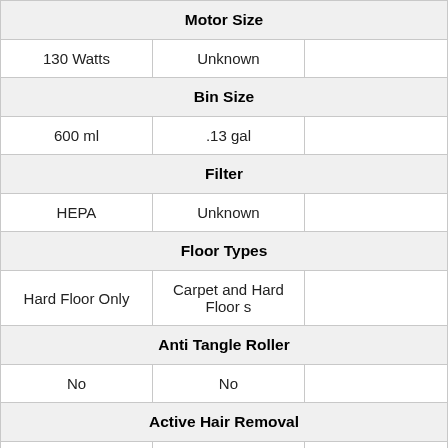| Motor Size |  |  |
| 130 Watts | Unknown |  |
| Bin Size |  |  |
| 600 ml | .13 gal |  |
| Filter |  |  |
| HEPA | Unknown |  |
| Floor Types |  |  |
| Hard Floor Only | Carpet and Hard Floors |  |
| Anti Tangle Roller |  |  |
| No | No |  |
| Active Hair Removal |  |  |
| No | No |  |
| Power Levels |  |  |